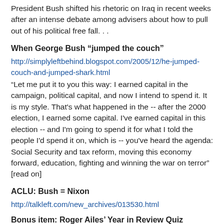President Bush shifted his rhetoric on Iraq in recent weeks after an intense debate among advisers about how to pull out of his political free fall. . .
When George Bush “jumped the couch”
http://simplyleftbehind.blogspot.com/2005/12/he-jumped-couch-and-jumped-shark.html
“Let me put it to you this way: I earned capital in the campaign, political capital, and now I intend to spend it. It is my style. That’s what happened in the -- after the 2000 election, I earned some capital. I’ve earned capital in this election -- and I’m going to spend it for what I told the people I’d spend it on, which is -- you’ve heard the agenda: Social Security and tax reform, moving this economy forward, education, fighting and winning the war on terror” [read on]
ACLU: Bush = Nixon
http://talkleft.com/new_archives/013530.html
Bonus item: Roger Ailes’ Year in Review Quiz